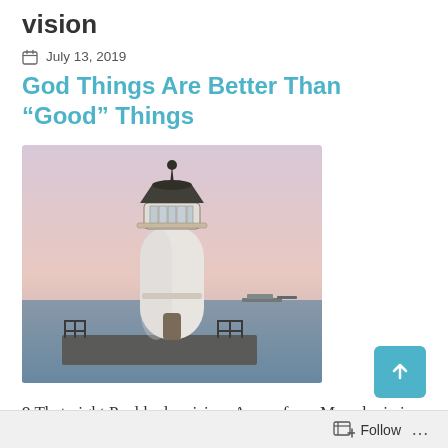vision
July 13, 2019
God Things Are Better Than “Good” Things
[Figure (photo): A white lighthouse on a rocky pier with water in the background and a pinkish-purple dusk sky]
9 That night Paul had a vision: A man from Macedonia in northern Greece was standing
Follow ...